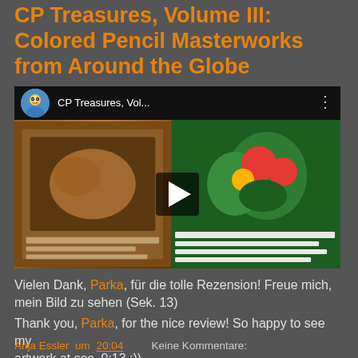CP Treasures, Volume III: Colored Pencil Masterworks from Around the Globe
[Figure (screenshot): YouTube video thumbnail showing CP Treasures, Vol... with a book open displaying colored pencil artwork of a cat and flowers, with a play button overlay and top bar showing channel avatar and title]
Vielen Dank, Parka, für die tolle Rezension! Freue mich, mein Bild zu sehen (Sek. 13)
Thank you, Parka, for the nice review! So happy to see my artwork at sec. 0:13 :))
Anja Essler um 20:04   Keine Kommentare: